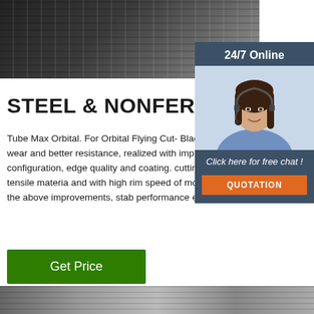[Figure (photo): Industrial machinery equipment, dark metallic components with gears or rollers]
[Figure (infographic): 24/7 Online chat widget with female customer service representative wearing headset, showing 'Click here for free chat!' and QUOTATION button]
STEEL & NONFERROUS
Tube Max Orbital. For Orbital Flying Cut- Blade. •Much less edge wear and better resistance, realized with improved edge configuration, edge quality and coating. cutting life even on higher tensile materia and with high rim speed of more than 60 •Owing to the above improvements, stab performance even ...
[Figure (other): Green Get Price button]
[Figure (photo): Industrial metal components, bottom strip photo]